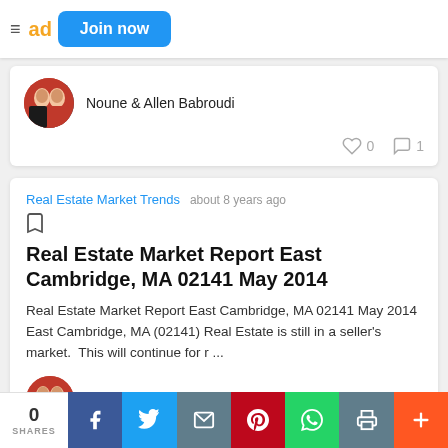Join now
Noune & Allen Babroudi
0 likes, 1 comment
Real Estate Market Trends   about 8 years ago
Real Estate Market Report East Cambridge, MA 02141 May 2014
Real Estate Market Report East Cambridge, MA 02141 May 2014 East Cambridge, MA (02141) Real Estate is still in a seller's market.  This will continue for r ...
Noune & Allen Babroudi
0 SHARES